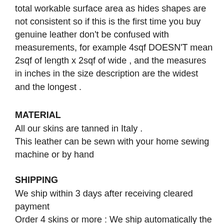total workable surface area as hides shapes are not consistent so if this is the first time you buy genuine leather don't be confused with measurements, for example 4sqf DOESN'T mean 2sqf of length x 2sqf of wide , and the measures in inches in the size description are the widest and the longest .
MATERIAL
All our skins are tanned in Italy .
This leather can be sewn with your home sewing machine or by hand
SHIPPING
We ship within 3 days after receiving cleared payment
Order 4 skins or more : We ship automatically the leather
Rolled and Express 2-4 days delivery